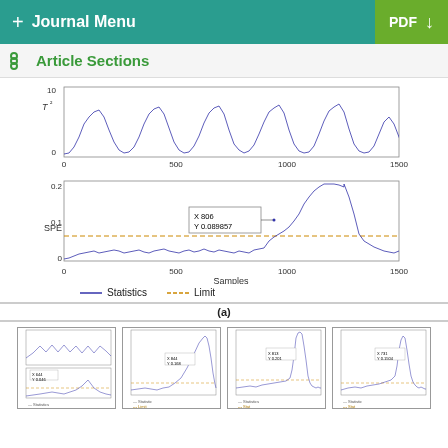+ Journal Menu  PDF ↓
Article Sections
[Figure (continuous-plot): Top subplot: T² statistic time series showing oscillating peaks over 0-1500 samples, y-axis 0-10. Bottom subplot: SPE statistic over 0-1500 samples, y-axis 0-0.2, with dashed orange limit line, and a data cursor annotation at X 806, Y 0.089857. Legend shows Statistics (solid blue) and Limit (dashed orange). X-axis labeled 'Samples'. Caption (a) below.]
(a)
[Figure (continuous-plot): Small thumbnail: two subplots (T² and SPE) similar to main figure (a), with legend Statistics/Limit.]
[Figure (continuous-plot): Small thumbnail: single SPE plot with data cursor annotation, legend shows Statistic/Limit.]
[Figure (continuous-plot): Small thumbnail: single SPE plot with spike near sample 800, data cursor annotation, legend Statistics/Stat.]
[Figure (continuous-plot): Small thumbnail: single SPE plot with spikes, data cursor annotation, legend Statistic/Stat.]